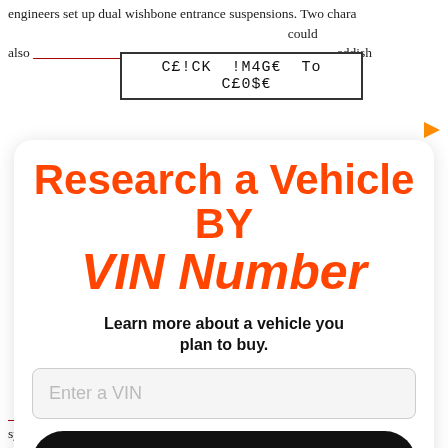engineers set up dual wishbone entrance suspensions. Two characteristics are forming of friction in We could also reddish
[Figure (screenshot): Click image to close banner overlay with text: C£!CK !M4G€ To C£0$€]
[Figure (infographic): Bumper VIN lookup advertisement. Title: Research a Vehicle BY VIN Number. Subtitle: Learn more about a vehicle you plan to buy. Input field: Enter a VIN. Button: Search. Logo: Bumper]
system.